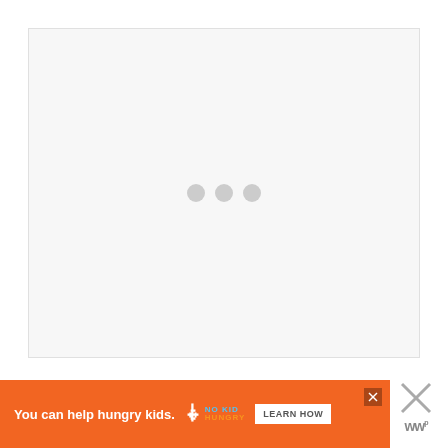[Figure (other): Loading indicator: three gray circles arranged horizontally on a light gray background, indicating content is loading.]
[Figure (other): Advertisement banner: orange background with white bold text 'You can help hungry kids.' followed by No Kid Hungry logo (fork icon with blue and orange text) and a white 'LEARN HOW' button. Has a close (X) button in the top right corner of the ad.]
[Figure (other): Side close button: large X icon in gray with a 'w' superscript logo below it, on a white background to the right of the ad banner.]